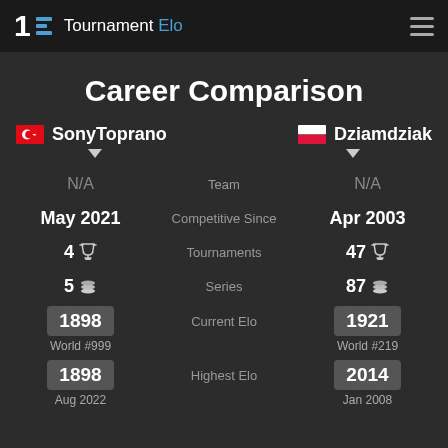Tournament Elo
Career Comparison
SonyToprano vs Dziamdziak
| SonyToprano | Category | Dziamdziak |
| --- | --- | --- |
| N/A | Team | N/A |
| May 2021 | Competitive Since | Apr 2003 |
| 4 | Tournaments | 47 |
| 5 | Series | 87 |
| 1898 / World #999 | Current Elo | 1921 / World #219 |
| 1898 / Aug 2022 | Highest Elo | 2014 / Jan 2008 |